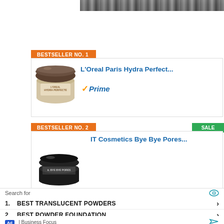[Figure (photo): Top portion of a photo showing people, partially cropped]
BESTSELLER NO. 1
[Figure (photo): L'Oreal Paris Hydra Perfect loose powder compact jar]
L'Oreal Paris Hydra Perfect...
✓Prime
BESTSELLER NO. 2
SALE
IT Cosmetics Bye Bye Pores...
[Figure (photo): IT Cosmetics Bye Bye Pores product jar]
BESTSELLER NO. 3
SALE
Search for
1. BEST TRANSLUCENT POWDERS
2. BEST POWDER FOUNDATION
Ad | Business Focus